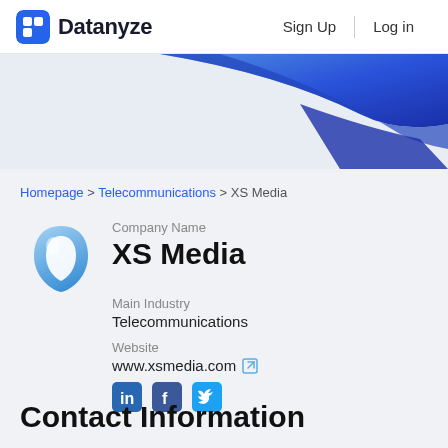Datanyze  Sign Up  Log in
[Figure (illustration): Blue gradient wave/ribbon banner background]
Homepage > Telecommunications > XS Media
[Figure (logo): XS Media company logo - blue teardrop/shield shape]
Company Name
XS Media
Main Industry
Telecommunications
Website
www.xsmedia.com
[Figure (illustration): LinkedIn, Facebook, Twitter social media icons]
Contact Information